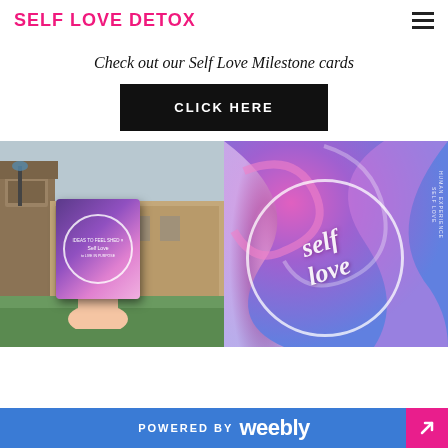SELF LOVE DETOX
Check out our Self Love Milestone cards
CLICK HERE
[Figure (photo): Two photos side by side: left shows a hand holding a purple/pink milestone card with a white circle design in front of a stone building; right shows colorful swirled pink and blue cards with 'self love' cursive text in a white circle]
POWERED BY weebly